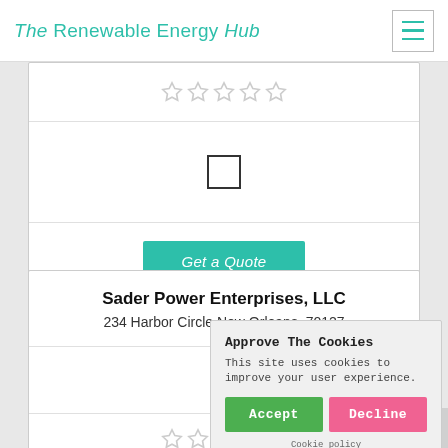The Renewable Energy Hub
[Figure (other): Star rating row (5 gray outline stars) in card 1]
[Figure (other): Checkbox (empty square) in card 1]
Get a Quote
Sader Power Enterprises, LLC
234 Harbor Circle,New Orleans, 70127
210.
Approve The Cookies
This site uses cookies to improve your user experience.
Accept
Decline
Cookie policy
[Figure (other): Star rating row (5 gray outline stars) in card 2]